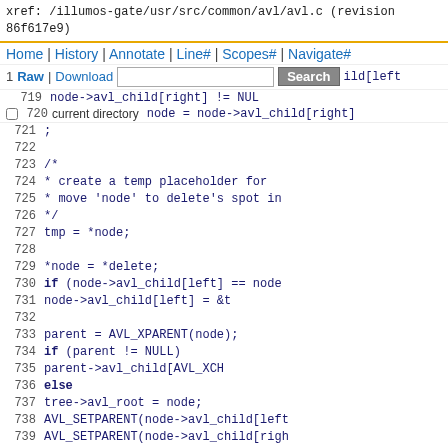xref: /illumos-gate/usr/src/common/avl/avl.c (revision 86f617e9)
Home | History | Annotate | Line# | Scopes# | Navigate#
1 Raw | Download  [Search]  Search  ild[left
719  node->avl_child[right] != NUL
720 current directory  node = node->avl_child[right]
Code lines 721-742: AVL tree source code from avl.c